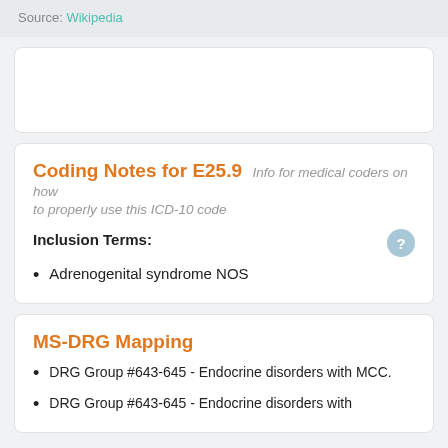Source: Wikipedia
Coding Notes for E25.9 Info for medical coders on how to properly use this ICD-10 code
Inclusion Terms:
Adrenogenital syndrome NOS
MS-DRG Mapping
DRG Group #643-645 - Endocrine disorders with MCC.
DRG Group #643-645 - Endocrine disorders with